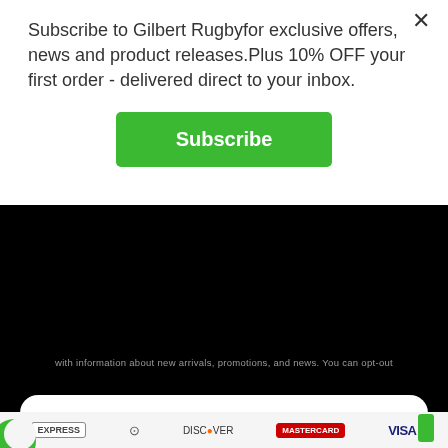Subscribe to Gilbert Rugbyfor exclusive offers, news and product releases.Plus 10% OFF your first order - delivered direct to your inbox.
Subscribe
with information about new arrivals, promotions, and news. You can opt-out
[Figure (illustration): Gold sparkle / star emoji icon inside a light grey circle]
Unlock exclusive rewards and perks
Sign up or Log in
Sign up
Already have an account? Sign in